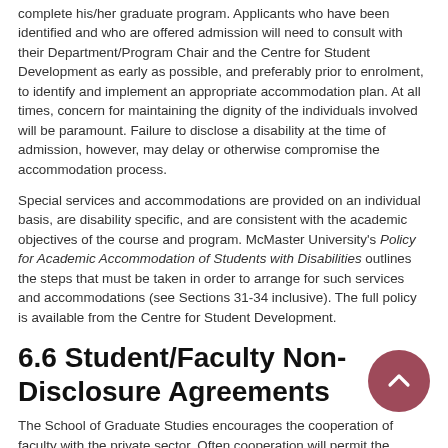complete his/her graduate program. Applicants who have been identified and who are offered admission will need to consult with their Department/Program Chair and the Centre for Student Development as early as possible, and preferably prior to enrolment, to identify and implement an appropriate accommodation plan. At all times, concern for maintaining the dignity of the individuals involved will be paramount. Failure to disclose a disability at the time of admission, however, may delay or otherwise compromise the accommodation process.
Special services and accommodations are provided on an individual basis, are disability specific, and are consistent with the academic objectives of the course and program. McMaster University's Policy for Academic Accommodation of Students with Disabilities outlines the steps that must be taken in order to arrange for such services and accommodations (see Sections 31-34 inclusive). The full policy is available from the Centre for Student Development.
6.6 Student/Faculty Non-Disclosure Agreements
The School of Graduate Studies encourages the cooperation of faculty with the private sector. Often cooperation will permit the